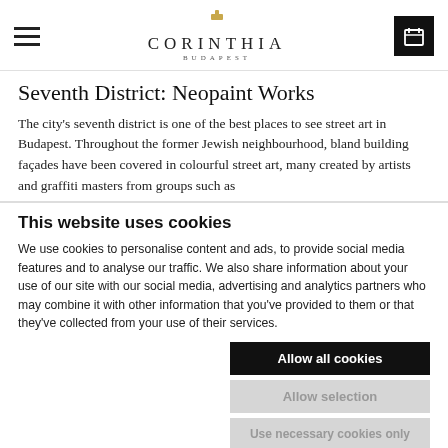CORINTHIA BUDAPEST
Seventh District: Neopaint Works
The city's seventh district is one of the best places to see street art in Budapest. Throughout the former Jewish neighbourhood, bland building façades have been covered in colourful street art, many created by artists and graffiti masters from groups such as
This website uses cookies
We use cookies to personalise content and ads, to provide social media features and to analyse our traffic. We also share information about your use of our site with our social media, advertising and analytics partners who may combine it with other information that you've provided to them or that they've collected from your use of their services.
Allow all cookies | Allow selection | Use necessary cookies only
Necessary  Preferences  Statistics  Marketing  Show details